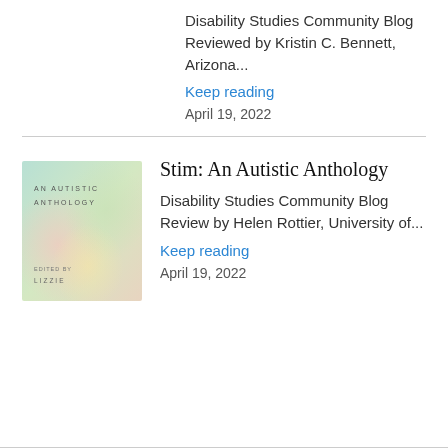Disability Studies Community Blog Reviewed by Kristin C. Bennett, Arizona...
Keep reading
April 19, 2022
[Figure (illustration): Book cover for 'Stim: An Autistic Anthology' — pastel watercolor style cover with text AN AUTISTIC ANTHOLOGY and EDITED BY LIZZIE]
Stim: An Autistic Anthology
Disability Studies Community Blog Review by Helen Rottier, University of...
Keep reading
April 19, 2022